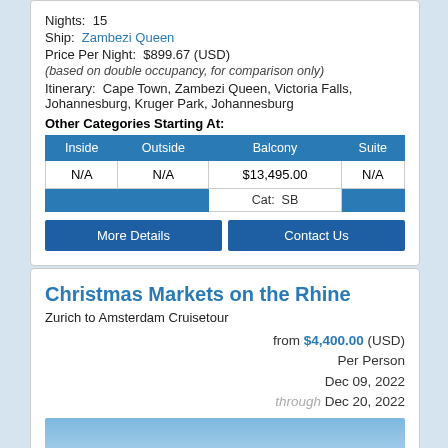Nights: 15
Ship: Zambezi Queen
Price Per Night: $899.67 (USD)
(based on double occupancy, for comparison only)
Itinerary: Cape Town, Zambezi Queen, Victoria Falls, Johannesburg, Kruger Park, Johannesburg
Other Categories Starting At:
| Inside | Outside | Balcony | Suite |
| --- | --- | --- | --- |
| N/A | N/A | $13,495.00 | N/A |
|  |  | Cat: SB |  |
More Details
Contact Us
Christmas Markets on the Rhine
Zurich to Amsterdam Cruisetour
from $4,400.00 (USD) Per Person Dec 09, 2022 through Dec 20, 2022
[Figure (photo): River cruise boat on the Rhine, partial view of blue sky and water]